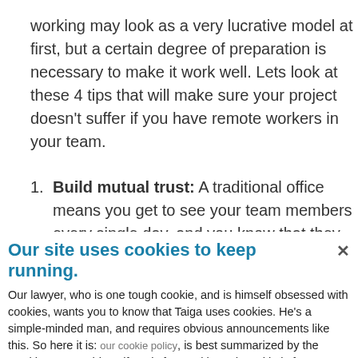working may look as a very lucrative model at first, but a certain degree of preparation is necessary to make it work well. Lets look at these 4 tips that will make sure your project doesn't suffer if you have remote workers in your team.
1. Build mutual trust: A traditional office means you get to see your team members every single day, and you know that they will be around when you need them
Our site uses cookies to keep running.
Our lawyer, who is one tough cookie, and is himself obsessed with cookies, wants you to know that Taiga uses cookies. He's a simple-minded man, and requires obvious announcements like this. So here it is: our cookie policy, is best summarized by the Cookie Monster himself: "C is for Cookie and Cookie is for me."